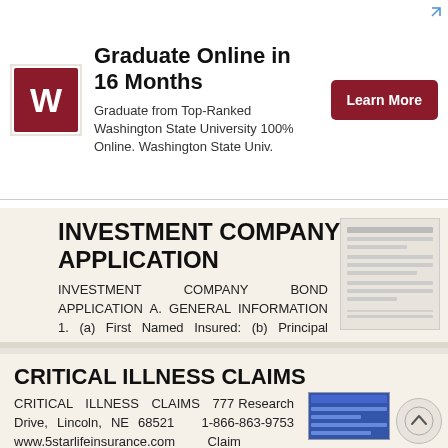[Figure (illustration): Advertisement banner for Washington State University online graduate program with WSU logo, text, and Learn More button]
INVESTMENT COMPANY BOND APPLICATION
INVESTMENT COMPANY BOND APPLICATION A. GENERAL INFORMATION 1. (a) First Named Insured: (b) Principal Address of First Named Insured 2. Name(s) of Investment Companies Date Created Total Assets # of Officers
More information →
CRITICAL ILLNESS CLAIMS
CRITICAL ILLNESS CLAIMS 777 Research Drive, Lincoln, NE 68521 1-866-863-9753 www.5starlifeinsurance.com Claim